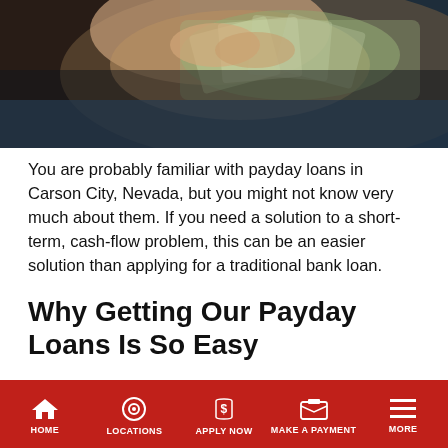[Figure (photo): Hands holding a fan of US dollar bills against a dark background]
You are probably familiar with payday loans in Carson City, Nevada, but you might not know very much about them. If you need a solution to a short-term, cash-flow problem, this can be an easier solution than applying for a traditional bank loan.
Why Getting Our Payday Loans Is So Easy
Now that you have a better understanding of what a payday loan is and have the answers to some frequent questions, you
HOME | LOCATIONS | APPLY NOW | MAKE A PAYMENT | MORE